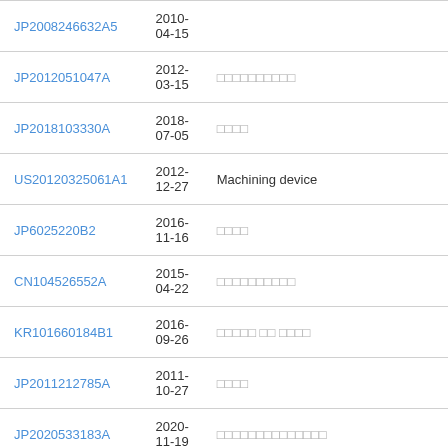| Patent Number | Date | Title |
| --- | --- | --- |
| JP2008246632A5 | 2010-04-15 |  |
| JP2012051047A | 2012-03-15 | □□□□□□□□□□ |
| JP2018103330A | 2018-07-05 | □□□□ |
| US20120325061A1 | 2012-12-27 | Machining device |
| JP6025220B2 | 2016-11-16 | □□□□ |
| CN104526552A | 2015-04-22 | □□□□□□□□□□ |
| KR101660184B1 | 2016-09-26 | □□□□□ □□ □□□□ |
| JP2011212785A | 2011-10-27 | □□□□ |
| JP2020533183A | 2020-11-19 | □□□□□□□□□□□□□□ |
| US11292096B2 | 2022-04-05 | Machine tool |
| KR20120071613A | 2012-07-03 | □□□□□ □□ □□ □□□□ |
| WO2019106844A1 | 2019-06-06 | □□□□□□□□□□□□□□□□□□□□□□□□□□□□ □□□□□ |
| KR20160915678A | 2016-03-15 | □□□ □□□ □□□ □□□□ |